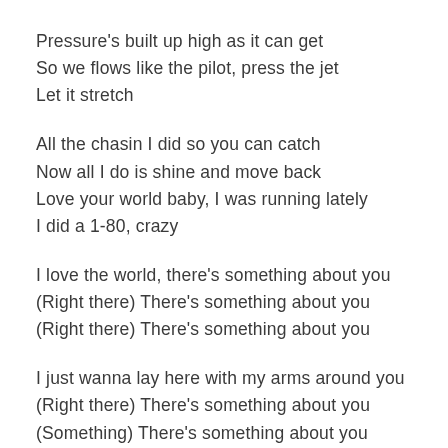Pressure's built up high as it can get
So we flows like the pilot, press the jet
Let it stretch
All the chasin I did so you can catch
Now all I do is shine and move back
Love your world baby, I was running lately
I did a 1-80, crazy
I love the world, there’s something about you
(Right there) There’s something about you
(Right there) There’s something about you
I just wanna lay here with my arms around you
(Right there) There’s something about you
(Something) There’s something about you
(Right there) There’s something about you
We can lay here all day and baby just love your
world